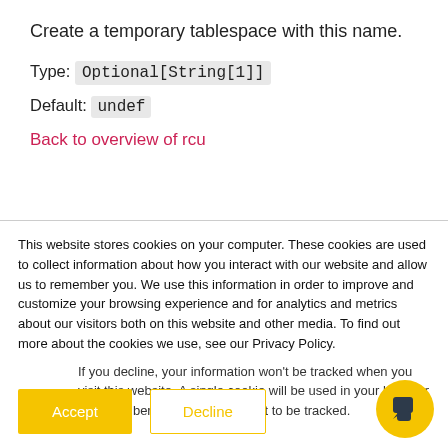Create a temporary tablespace with this name.
Type: Optional[String[1]]
Default: undef
Back to overview of rcu
This website stores cookies on your computer. These cookies are used to collect information about how you interact with our website and allow us to remember you. We use this information in order to improve and customize your browsing experience and for analytics and metrics about our visitors both on this website and other media. To find out more about the cookies we use, see our Privacy Policy.
If you decline, your information won't be tracked when you visit this website. A single cookie will be used in your browser to remember your preference not to be tracked.